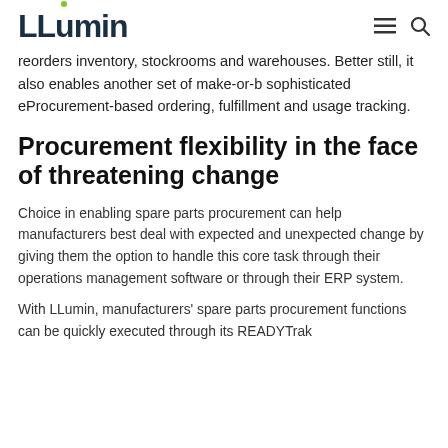LLumin
reorders inventory, stockrooms and warehouses. Better still, it also enables another set of make-or-b sophisticated eProcurement-based ordering, fulfillment and usage tracking.
Procurement flexibility in the face of threatening change
Choice in enabling spare parts procurement can help manufacturers best deal with expected and unexpected change by giving them the option to handle this core task through their operations management software or through their ERP system.
With LLumin, manufacturers' spare parts procurement functions can be quickly executed through its READYTrak